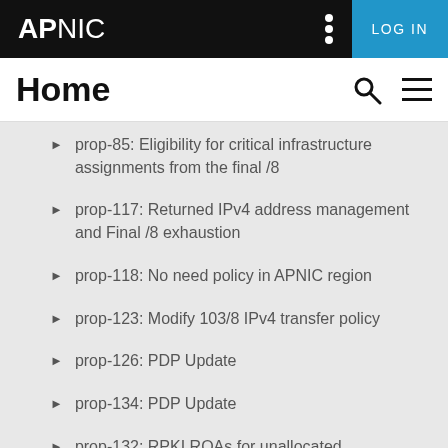APNIC   LOG IN
Home
prop-85: Eligibility for critical infrastructure assignments from the final /8
prop-117: Returned IPv4 address management and Final /8 exhaustion
prop-118: No need policy in APNIC region
prop-123: Modify 103/8 IPv4 transfer policy
prop-126: PDP Update
prop-134: PDP Update
prop-132: RPKI ROAs for unallocated and unassigned APNIC address...